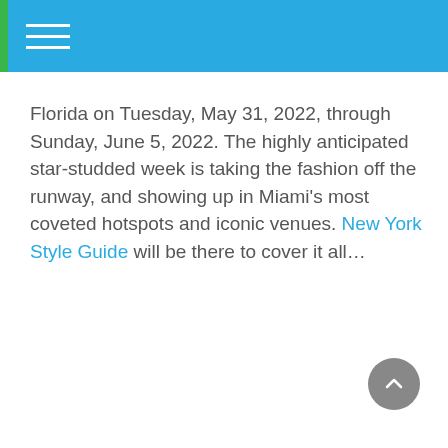Florida on Tuesday, May 31, 2022, through Sunday, June 5, 2022. The highly anticipated star-studded week is taking the fashion off the runway, and showing up in Miami’s most coveted hotspots and iconic venues. New York Style Guide will be there to cover it all…